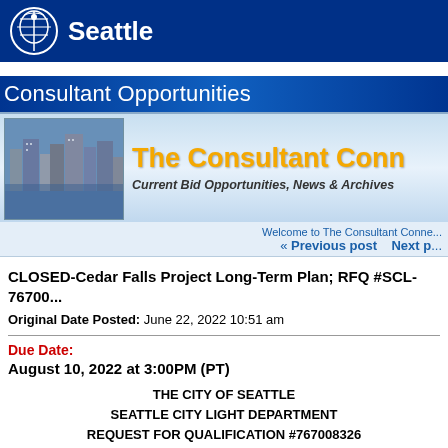Seattle
Consultant Opportunities
[Figure (screenshot): City of Seattle skyline photo with waterfront buildings]
The Consultant Conn... Current Bid Opportunities, News & Archives
Welcome to The Consultant Conne... « Previous post    Next p...
CLOSED-Cedar Falls Project Long-Term Plan; RFQ #SCL-76700...
Original Date Posted: June 22, 2022 10:51 am
Due Date:
August 10, 2022 at 3:00PM (PT)
THE CITY OF SEATTLE
SEATTLE CITY LIGHT DEPARTMENT
REQUEST FOR QUALIFICATION #767008326